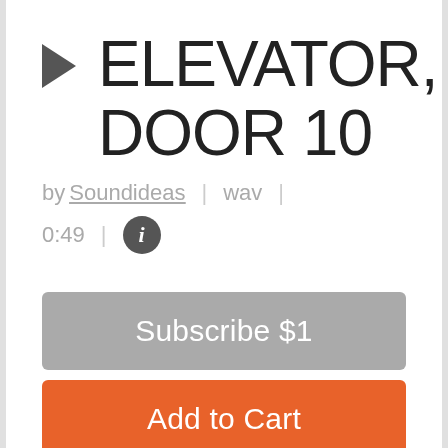ELEVATOR, DOOR 10
by Soundideas  |  wav  |  0:49  |
Subscribe $1
Add to Cart